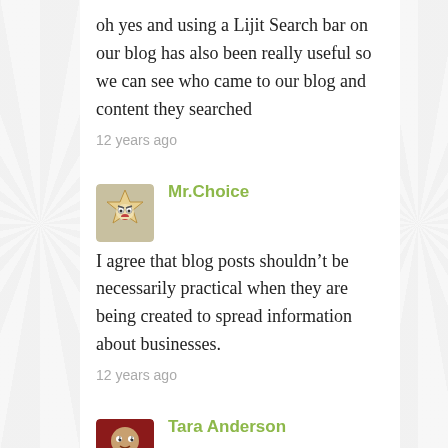oh yes and using a Lijit Search bar on our blog has also been really useful so we can see who came to our blog and content they searched
12 years ago
Mr.Choice
I agree that blog posts shouldn't be necessarily practical when they are being created to spread information about businesses.
12 years ago
Tara Anderson
@Domenick Glad you enjoyed the post and